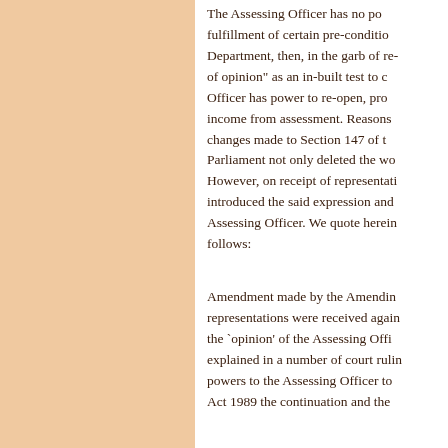The Assessing Officer has no power to make fulfillment of certain pre-conditions by the Department, then, in the garb of re-assessment of opinion" as an in-built test to check if the Officer has power to re-open, provided there is income from assessment. Reasons for such changes made to Section 147 of the Act by Parliament not only deleted the word 'reason'. However, on receipt of representations and introduced the said expression and subjective Assessing Officer. We quote hereinbelow as follows:
Amendment made by the Amending Act, representations were received again st restoring the `opinion' of the Assessing Officer, as explained in a number of court rulings enlarged powers to the Assessing Officer to Act 1989 the continuation and the